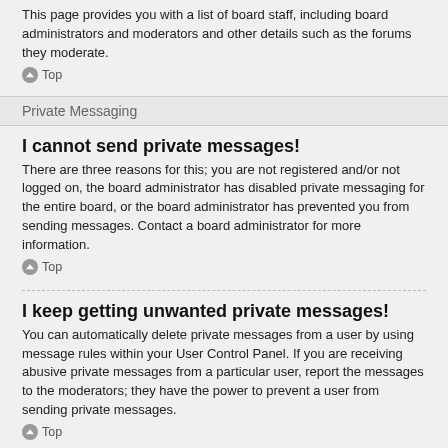This page provides you with a list of board staff, including board administrators and moderators and other details such as the forums they moderate.
Top
Private Messaging
I cannot send private messages!
There are three reasons for this; you are not registered and/or not logged on, the board administrator has disabled private messaging for the entire board, or the board administrator has prevented you from sending messages. Contact a board administrator for more information.
Top
I keep getting unwanted private messages!
You can automatically delete private messages from a user by using message rules within your User Control Panel. If you are receiving abusive private messages from a particular user, report the messages to the moderators; they have the power to prevent a user from sending private messages.
Top